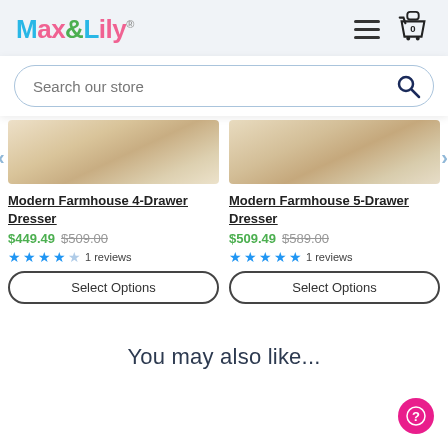Max&Lily
Search our store
[Figure (photo): Product image for Modern Farmhouse 4-Drawer Dresser - wood grain texture]
Modern Farmhouse 4-Drawer Dresser
$449.49 $509.00
★★★★☆ 1 reviews
Select Options
[Figure (photo): Product image for Modern Farmhouse 5-Drawer Dresser - wood grain texture]
Modern Farmhouse 5-Drawer Dresser
$509.49 $589.00
★★★★★ 1 reviews
Select Options
You may also like...